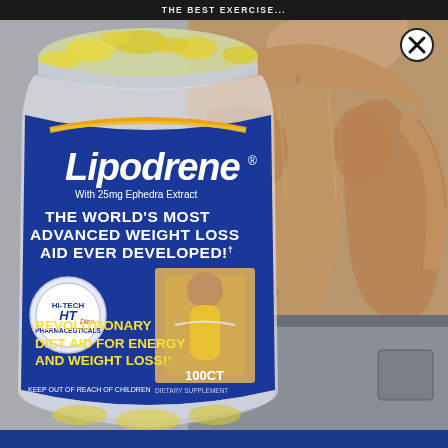THE BEST EXERCISE...
[Figure (photo): Lipodrene dietary supplement bottle with blue label showing 'With 25mg Ephedra Extract', 'THE WORLD'S MOST ADVANCED WEIGHT LOSS AID EVER DEVELOPED!†', 'REVOLUTIONARY DIET AID FOR ENERGY AND WEIGHT LOSS!†', '100CT', 'KEEP OUT OF REACH OF CHILDREN', 'DIETARY SUPPLEMENT', Hi-Tech Pharmaceuticals logo, and image of woman measuring waist. Behind the bottle is a muscular man's back. A black circle X close button is in the upper right.]